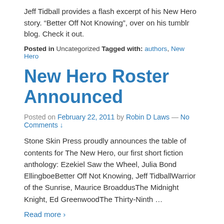Jeff Tidball provides a flash excerpt of his New Hero story. “Better Off Not Knowing”, over on his tumblr blog. Check it out.
Posted in Uncategorized Tagged with: authors, New Hero
New Hero Roster Announced
Posted on February 22, 2011 by Robin D Laws — No Comments ↓
Stone Skin Press proudly announces the table of contents for The New Hero, our first short fiction anthology: Ezekiel Saw the Wheel, Julia Bond EllingboeBetter Off Not Knowing, Jeff TidballWarrior of the Sunrise, Maurice BroaddusThe Midnight Knight, Ed GreenwoodThe Thirty-Ninth …
Read more ›